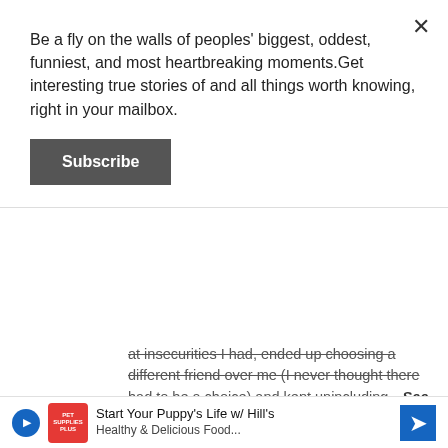Be a fly on the walls of peoples' biggest, oddest, funniest, and most heartbreaking moments.Get interesting true stories of and all things worth knowing, right in your mailbox.
Subscribe
at insecurities I had, ended up choosing a different friend over me (I never thought there had to be a choice) and kept unincluding…See more
Reply
mdmom · 11w ago
When my then BFF got drunk one night while her hubs was outta town on travel, and she called my then BF, cos she was "scared" to be alone (He lived close to her house).  He was sleeping in the spare room whe she came in buck naked and tri…See more   (Edited)
Start Your Puppy's Life w/ Hill's Healthy & Delicious Food...